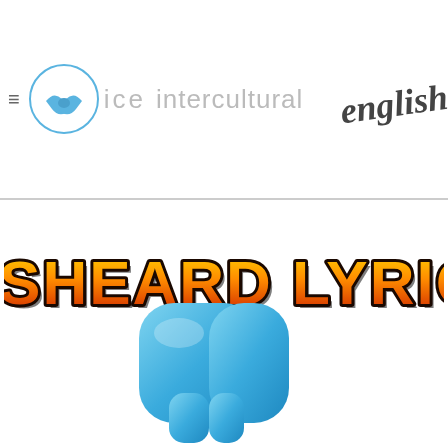ice intercultural english — logo header
[Figure (logo): ICE Intercultural English logo with handshake icon, text 'ice intercultural english' in grey and 'english' in cursive black script]
MISHEARD LYRICS
[Figure (illustration): Blue 3D speech bubble / quotation mark icon, partially visible at bottom of page]